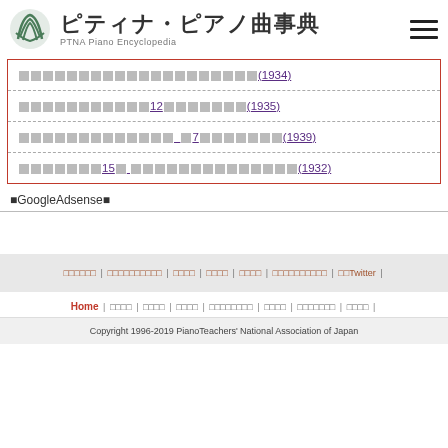ピティナ・ピアノ曲事典 PTNA Piano Encyclopedia
□□□□□□□□□□□□□□□□□□□□(1934)
□□□□□□□□□□□12□□□□□□□(1935)
□□□□□□□□□□□□□　□7□□□□□□□□□(1939)
□□□□□□□15□ □□□□□□□□□□□□□□□□(1932)
■GoogleAdsense■
□□□□□□ | □□□□□□□□□□ | □□□□ | □□□□ | □□□□ | □□□□□□□□□□ | □□Twitter |
Home | □□□□ | □□□□ | □□□□ | □□□□□□□□ | □□□□ | □□□□□□□ | □□□□ |
Copyright 1996-2019 PianoTeachers' National Association of Japan